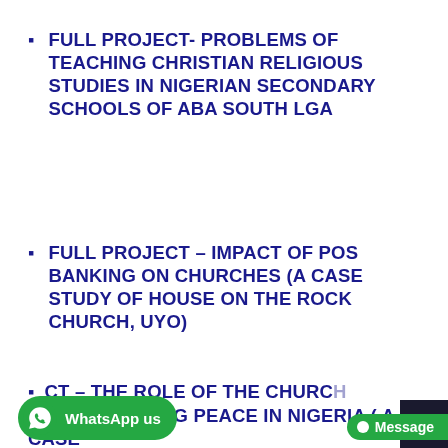FULL PROJECT- PROBLEMS OF TEACHING CHRISTIAN RELIGIOUS STUDIES IN NIGERIAN SECONDARY SCHOOLS OF ABA SOUTH LGA
FULL PROJECT – IMPACT OF POS BANKING ON CHURCHES (A CASE STUDY OF HOUSE ON THE ROCK CHURCH, UYO)
FULL PROJECT – THE ROLE OF THE CHURCH IN SUSTAINING PEACE IN NIGERIA ( A CASE